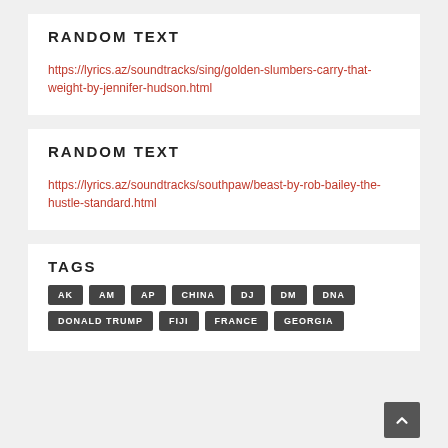RANDOM TEXT
https://lyrics.az/soundtracks/sing/golden-slumbers-carry-that-weight-by-jennifer-hudson.html
RANDOM TEXT
https://lyrics.az/soundtracks/southpaw/beast-by-rob-bailey-the-hustle-standard.html
TAGS
AK
AM
AP
CHINA
DJ
DM
DNA
DONALD TRUMP
FIJI
FRANCE
GEORGIA